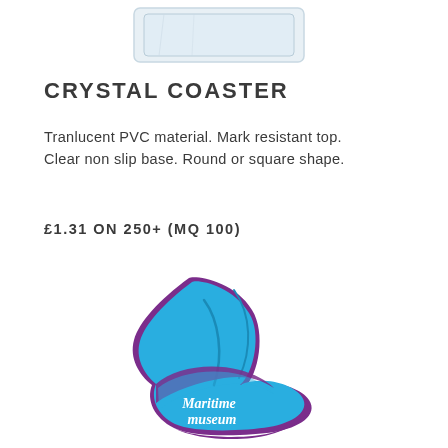[Figure (photo): Crystal coaster product photo - translucent square/rectangular PVC coaster shown from above]
CRYSTAL COASTER
Tranlucent PVC material. Mark resistant top. Clear non slip base. Round or square shape.
£1.31 ON 250+ (MQ 100)
[Figure (logo): Maritime museum logo - a stylized sail/nautical shape in blue and purple with text 'Maritime museum' in white script]